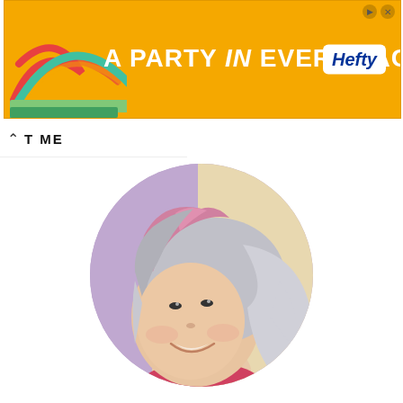[Figure (other): Orange advertisement banner reading 'A PARTY in EVERY PACK' with Hefty logo and rainbow arc graphic on the left]
T ME
[Figure (photo): Circular profile photo of a smiling woman with silver and pink highlighted short bob haircut]